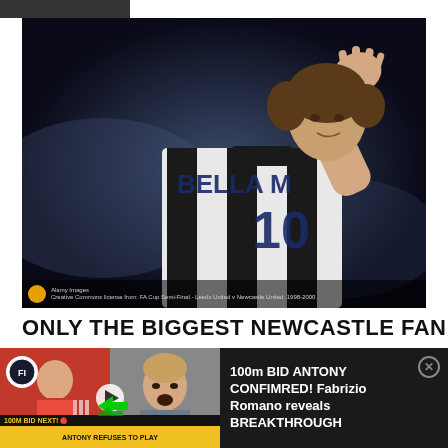[Figure (photo): Football player in black and white striped Newcastle United shirt with number 10 and name BELLAM visible, raising one hand, dark background]
ONLY THE BIGGEST NEWCASTLE FAN WILL
[Figure (screenshot): Advertisement overlay showing video thumbnail with Antony in Manchester United kit and text: 100m BID ANTONY CONFIMRED! Fabrizio Romano reveals BREAKTHROUGH]